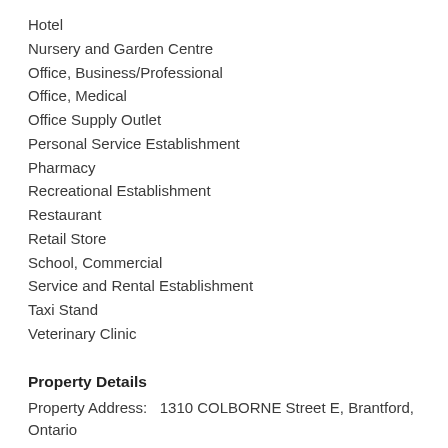Hotel
Nursery and Garden Centre
Office, Business/Professional
Office, Medical
Office Supply Outlet
Personal Service Establishment
Pharmacy
Recreational Establishment
Restaurant
Retail Store
School, Commercial
Service and Rental Establishment
Taxi Stand
Veterinary Clinic
Property Details
Property Address:   1310 COLBORNE Street E, Brantford, Ontario
Property Type:   Commercial